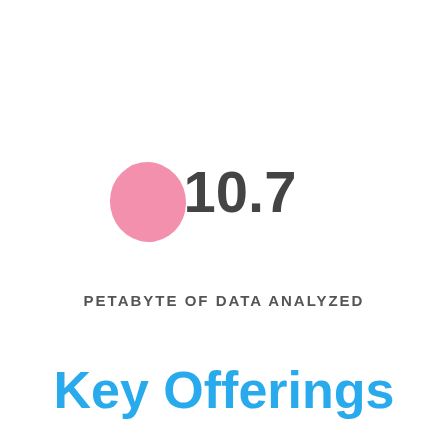[Figure (infographic): A pink blob/circle shape on the left, with the large number 10.7 displayed to its right, centered in the upper-middle area of the page.]
PETABYTE OF DATA ANALYZED
Key Offerings